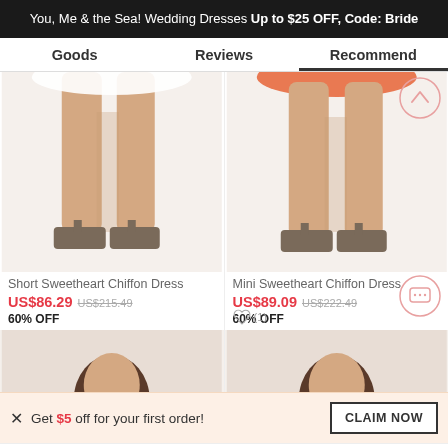You, Me & the Sea! Wedding Dresses Up to $25 OFF, Code: Bride
Goods | Reviews | Recommend
[Figure (photo): Bottom half of woman wearing white dress and heels on white background - Short Sweetheart Chiffon Dress]
Short Sweetheart Chiffon Dress
US$86.29  US$215.49  60% OFF
[Figure (photo): Bottom half of woman wearing orange dress and heels on white background - Mini Sweetheart Chiffon Dress]
Mini Sweetheart Chiffon Dress
US$89.09  US$222.49  60% OFF
[Figure (photo): Partial view of woman's head and shoulders - product image cropped]
[Figure (photo): Partial view of woman's head and shoulders - product image cropped]
Get $5 off for your first order! CLAIM NOW
ADD TO BAG